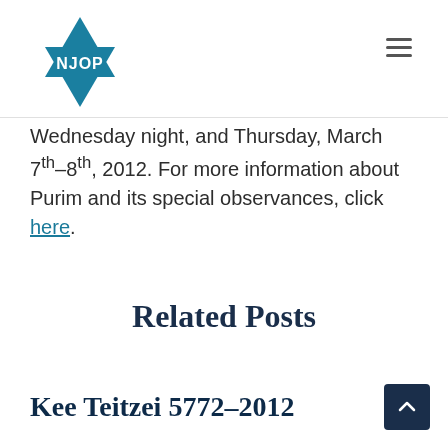NJOP logo and navigation
Wednesday night, and Thursday, March 7th–8th, 2012. For more information about Purim and its special observances, click here.
Related Posts
Kee Teitzei 5772–2012